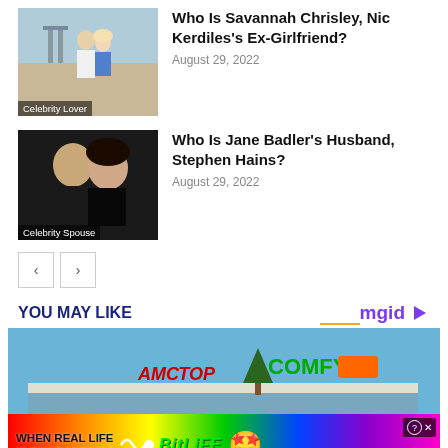[Figure (photo): Couple photo at beach, man and woman, overlay label 'Celebrity Lover']
Who Is Savannah Chrisley, Nic Kerdiles's Ex-Girlfriend?
August 29, 2022
[Figure (photo): Two people portrait, dark background, overlay label 'Celebrity Spouse']
Who Is Jane Badler's Husband, Stephen Hains?
August 29, 2022
< >
YOU MAY LIKE
[Figure (photo): Shopping mall exterior with AMSTOR and COMFY signs, Christmas tree, advertisement overlay for BitLife game showing rainbow and text 'WHEN REAL LIFE IS QUARANTINED BITLIFE']